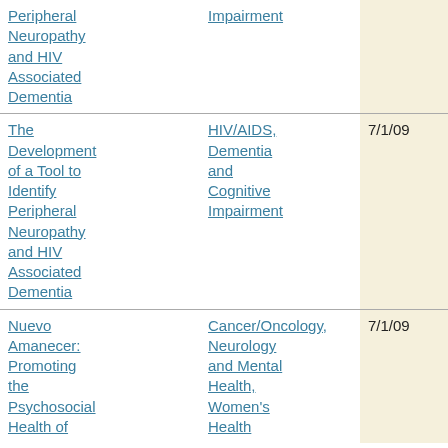| Project Title | Topic Area | Start Date | End Date |
| --- | --- | --- | --- |
| Peripheral Neuropathy and HIV Associated Dementia | Impairment |  |  |
| The Development of a Tool to Identify Peripheral Neuropathy and HIV Associated Dementia | HIV/AIDS, Dementia and Cognitive Impairment | 7/1/09 | 12/31/10 |
| Nuevo Amanecer: Promoting the Psychosocial Health of | Cancer/Oncology, Neurology and Mental Health, Women's Health | 7/1/09 | 6/30/13 |